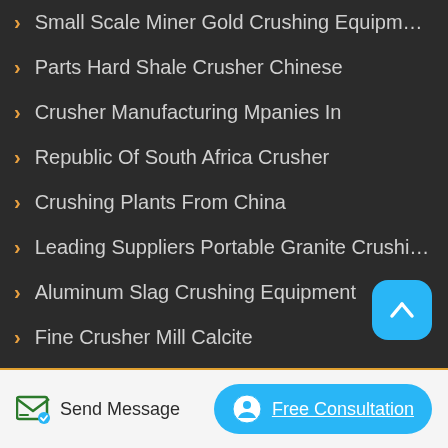Small Scale Miner Gold Crushing Equipment For Sale ...
Parts Hard Shale Crusher Chinese
Crusher Manufacturing Mpanies In
Republic Of South Africa Crusher
Crushing Plants From China
Leading Suppliers Portable Granite Crushing Plant F...
Aluminum Slag Crushing Equipment
Fine Crusher Mill Calcite
Dolimite Por Le Crusher Price In Angola
Send Message | Free Consultation